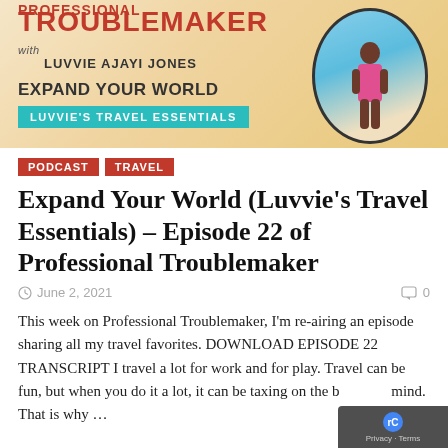[Figure (illustration): Professional Troublemaker podcast banner with Luvvie Ajayi Jones. Shows title in red, subtitle 'with LUVVIE AJAYI JONES', 'EXPAND YOUR WORLD' text, teal box reading 'LUVVIE'S TRAVEL ESSENTIALS', and a circular photo of a woman standing on a beach.]
PODCAST
TRAVEL
Expand Your World (Luvvie's Travel Essentials) – Episode 22 of Professional Troublemaker
June 2, 2021
0
This week on Professional Troublemaker, I'm re-airing an episode sharing all my travel favorites. DOWNLOAD EPISODE 22 TRANSCRIPT I travel a lot for work and for play. Travel can be fun, but when you do it a lot, it can be taxing on the body and mind. That is why …